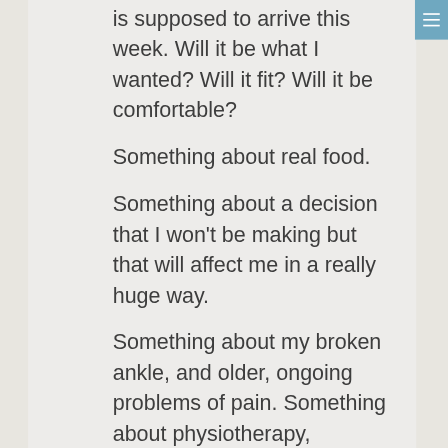is supposed to arrive this week. Will it be what I wanted? Will it fit? Will it be comfortable?
Something about real food.
Something about a decision that I won't be making but that will affect me in a really huge way.
Something about my broken ankle, and older, ongoing problems of pain. Something about physiotherapy, chiropractic, slow healing, gaining strength. Something about finding the balance between activity to build up strength and too much of the wrong kind of activity.
Something about planning the week and